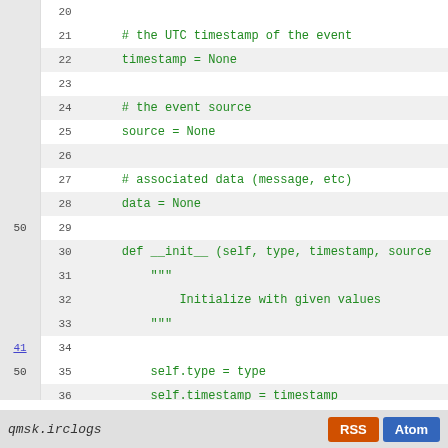[Figure (screenshot): Source code viewer showing Python class definition lines 20-39 with line numbers, alternating highlighted rows, and annotation numbers in left gutter.]
qmsk.irclogs   RSS   Atom